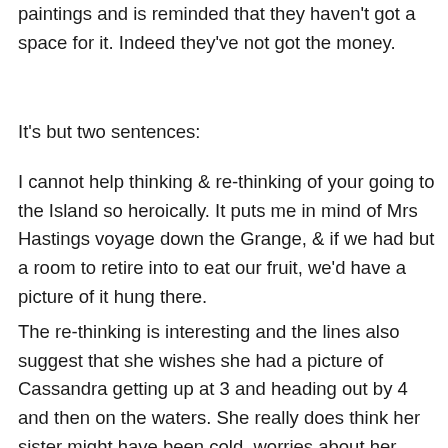paintings and is reminded that they haven't got a space for it. Indeed they've not got the money.
It's but two sentences:
I cannot help thinking & re-thinking of your going to the Island so heroically. It puts me in mind of Mrs Hastings voyage down the Grange, & if we had but a room to retire into to eat our fruit, we'd have a picture of it hung there.
The re-thinking is interesting and the lines also suggest that she wishes she had a picture of Cassandra getting up at 3 and heading out by 4 and then on the waters. She really does think her sister might have been cold, worries about her — there are references in the letters which I've not emphasized but reading so closely and